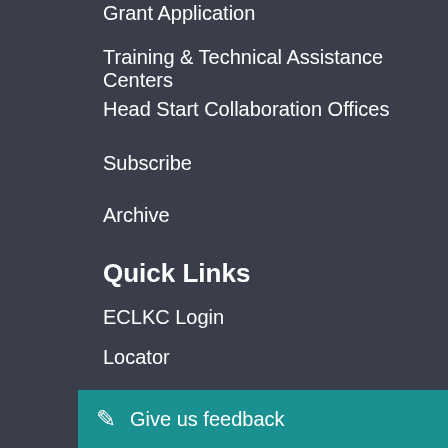Grant Application
Training & Technical Assistance Centers
Head Start Collaboration Offices
Subscribe
Archive
Quick Links
ECLKC Login
Locator
Contact Us
MyPeers
Coaching Companion
iPD
Agenci
HHS.gov
Give us feedback